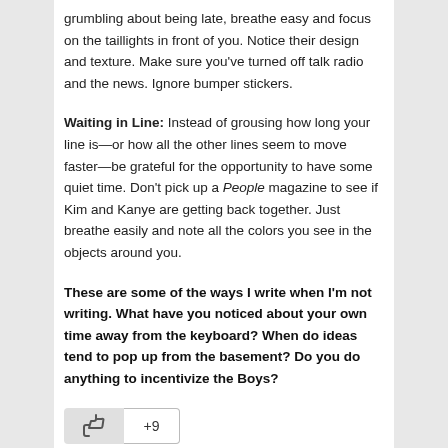grumbling about being late, breathe easy and focus on the taillights in front of you. Notice their design and texture. Make sure you've turned off talk radio and the news. Ignore bumper stickers.
Waiting in Line: Instead of grousing how long your line is—or how all the other lines seem to move faster—be grateful for the opportunity to have some quiet time. Don't pick up a People magazine to see if Kim and Kanye are getting back together. Just breathe easily and note all the colors you see in the objects around you.
These are some of the ways I write when I'm not writing. What have you noticed about your own time away from the keyboard? When do ideas tend to pop up from the basement? Do you do anything to incentivize the Boys?
[Figure (other): A like/thumbs-up button with a +9 count badge]